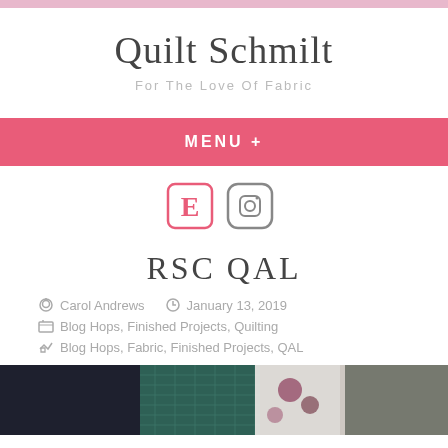Quilt Schmilt
For The Love Of Fabric
MENU +
[Figure (logo): Etsy and Instagram social media icons in pink/coral color]
RSC QAL
Carol Andrews  January 13, 2019
Blog Hops, Finished Projects, Quilting
Blog Hops, Fabric, Finished Projects, QAL
[Figure (photo): Photo of quilting fabric pieces and cutting mat with various patterned fabrics]